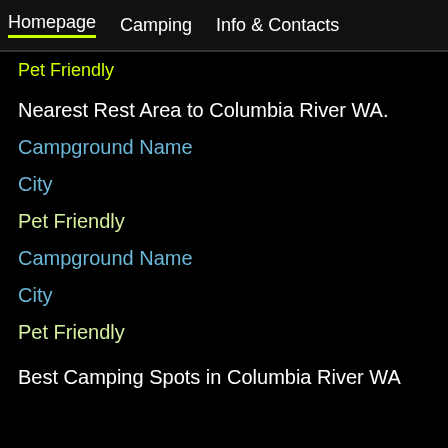Homepage  Camping  Info & Contacts
Pet Friendly
Nearest Rest Area to Columbia River WA.
Campground Name
City
Pet Friendly
Campground Name
City
Pet Friendly
Best Camping Spots in Columbia River WA